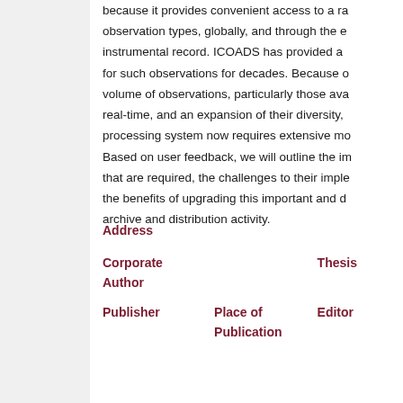because it provides convenient access to a range of observation types, globally, and through the extended instrumental record. ICOADS has provided a for such observations for decades. Because of the volume of observations, particularly those available in real-time, and an expansion of their diversity, the processing system now requires extensive modernization. Based on user feedback, we will outline the improvements that are required, the challenges to their implementation, the benefits of upgrading this important and dataset archive and distribution activity.
Address
Corporate Author
Thesis
Publisher
Place of Publication
Editor